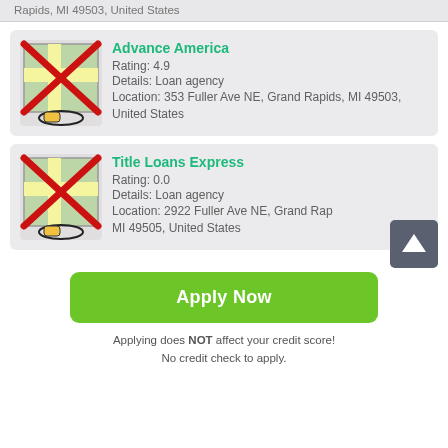Rapids, MI 49503, United States
Advance America
Rating: 4.9
Details: Loan agency
Location: 353 Fuller Ave NE, Grand Rapids, MI 49503, United States
[Figure (illustration): Map thumbnail icon with red X cross overlay and location pin circle]
Title Loans Express
Rating: 0.0
Details: Loan agency
Location: 2922 Fuller Ave NE, Grand Rapids, MI 49505, United States
[Figure (illustration): Map thumbnail icon with red X cross overlay and location pin circle]
Apply Now
Applying does NOT affect your credit score!
No credit check to apply.